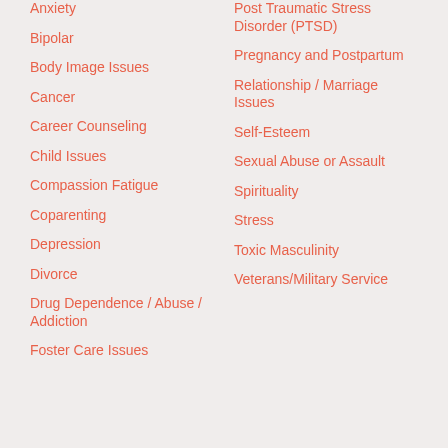Anxiety
Bipolar
Body Image Issues
Cancer
Career Counseling
Child Issues
Compassion Fatigue
Coparenting
Depression
Divorce
Drug Dependence / Abuse / Addiction
Foster Care Issues
Post Traumatic Stress Disorder (PTSD)
Pregnancy and Postpartum
Relationship / Marriage Issues
Self-Esteem
Sexual Abuse or Assault
Spirituality
Stress
Toxic Masculinity
Veterans/Military Service